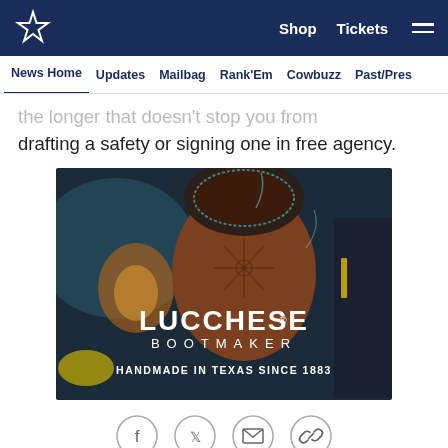Dallas Cowboys logo | Shop | Tickets | Menu
News Home | Updates | Mailbag | Rank'Em | Cowbuzz | Past/Pres
…the longer that doesn't stop you from drafting a safety or signing one in free agency.
[Figure (photo): Lucchese Bootmaker advertisement showing a brown leather cowboy boot with smoke around it. Text reads: LUCCHESE® BOOTMAKER — HANDMADE IN TEXAS SINCE 1883]
[Figure (other): Social sharing icons row: Facebook, Twitter, Email, Link]